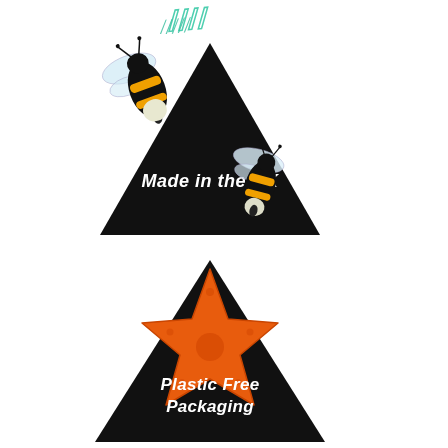[Figure (logo): Partial green/teal handwritten-style logo text at top of page, partially cropped]
[Figure (illustration): Black triangle badge with two illustrated bumblebees (black, orange, white coloring) overlapping the triangle, with white italic text 'Made in the UK' inside the triangle]
[Figure (illustration): Black triangle badge with an illustrated orange starfish overlapping the triangle, with white italic text 'Plastic Free Packaging' inside the triangle]